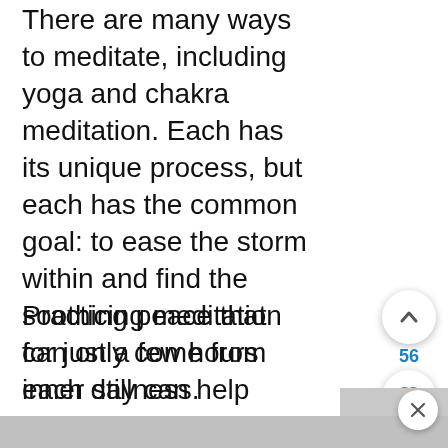There are many ways to meditate, including yoga and chakra meditation. Each has its unique process, but each has the common goal: to ease the storm within and find the soothing peace that can only come from inner stillness.
Practicing meditation for just a few hours each day can help alleviate mental health issues and help reduce blood pressure. Meditation is even known to expand your life expectancy.